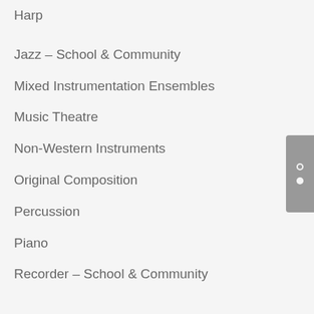Harp
Jazz – School & Community
Mixed Instrumentation Ensembles
Music Theatre
Non-Western Instruments
Original Composition
Percussion
Piano
Recorder – School & Community